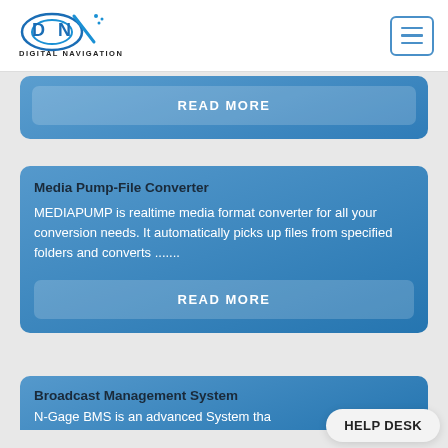[Figure (logo): Digital Navigation logo with satellite dish and 'DN' letters in blue, text 'DIGITAL NAVIGATION' below]
READ MORE
Media Pump-File Converter
MEDIAPUMP is realtime media format converter for all your conversion needs. It automatically picks up files from specified folders and converts .......
READ MORE
Broadcast Management System
N-Gage BMS is an advanced System tha
HELP DESK